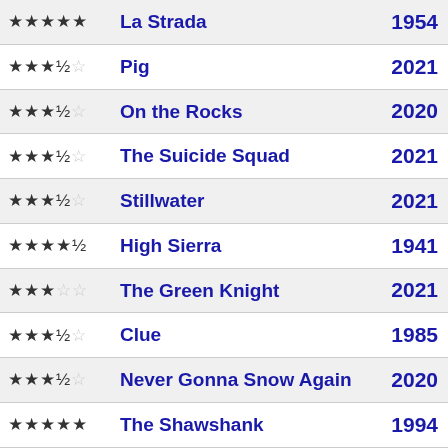| Rating | Title | Year |
| --- | --- | --- |
| ★★★★★ | La Strada | 1954 |
| ★★★½☆ | Pig | 2021 |
| ★★★½☆ | On the Rocks | 2020 |
| ★★★½☆ | The Suicide Squad | 2021 |
| ★★★½☆ | Stillwater | 2021 |
| ★★★★½ | High Sierra | 1941 |
| ★★★☆☆ | The Green Knight | 2021 |
| ★★★½☆ | Clue | 1985 |
| ★★★½☆ | Never Gonna Snow Again | 2020 |
| ★★★★★ | The Shawshank | 1994 |